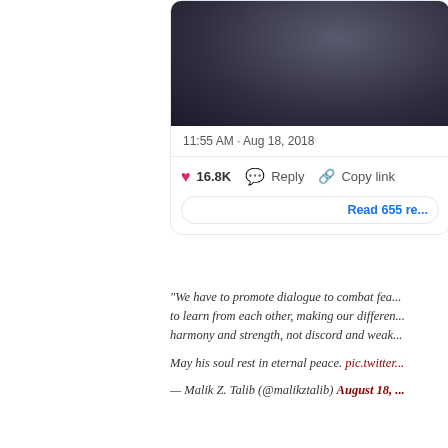[Figure (screenshot): Cropped Twitter/X tweet card showing a dark image (person in dark jacket), timestamp 11:55 AM · Aug 18, 2018, with 16.8K likes, Reply, Copy link actions, and a Read 655 re... button]
“We have to promote dialogue to combat fea... to learn from each other, making our differen... harmony and strength, not discord and weak...
May his soul rest in eternal peace. pic.twitter...
— Malik Z. Talib (@malikztalib) August 18,...